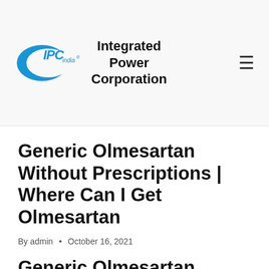[Figure (logo): IPC india logo with blue crescent and text, followed by company name 'Integrated Power Corporation']
Generic Olmesartan Without Prescriptions | Where Can I Get Olmesartan
By admin • October 16, 2021
Generic Olmesartan